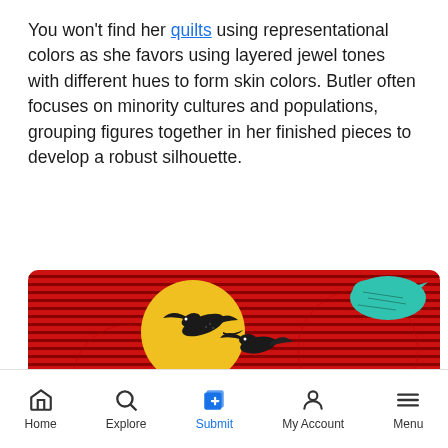You won't find her quilts using representational colors as she favors using layered jewel tones with different hues to form skin colors. Butler often focuses on minority cultures and populations, grouping figures together in her finished pieces to develop a robust silhouette.
[Figure (photo): A colorful quilt artwork featuring two black birds (crows/ravens) against a yellow sun circle, set against a background of red and black striped fabric. A teal/turquoise bird shape is visible in the upper right. The foreground shows black and white swirling decorative fabric patterns.]
Home   Explore   Submit   My Account   Menu